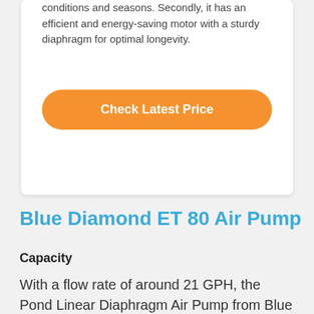conditions and seasons. Secondly, it has an efficient and energy-saving motor with a sturdy diaphragm for optimal longevity.
Check Latest Price
Blue Diamond ET 80 Air Pump
Capacity
With a flow rate of around 21 GPH, the Pond Linear Diaphragm Air Pump from Blue Diamond is a good choice for ponds that are up to 7 feet deep